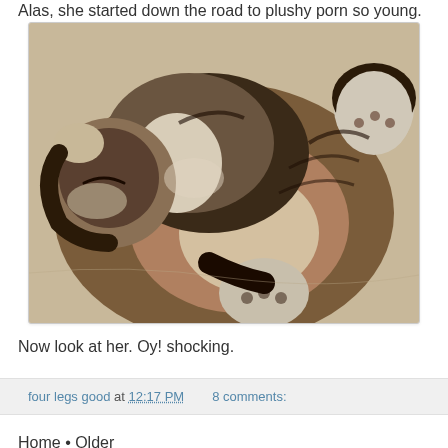Alas, she started down the road to plushy porn so young.
[Figure (photo): A fluffy tabby cat lying on its back on a light-colored surface, showing its belly and paws, fur appears brown/grey/white striped, eyes closed, multiple paws visible]
Now look at her. Oy! shocking.
four legs good at 12:17 PM   8 comments:
Home • Older